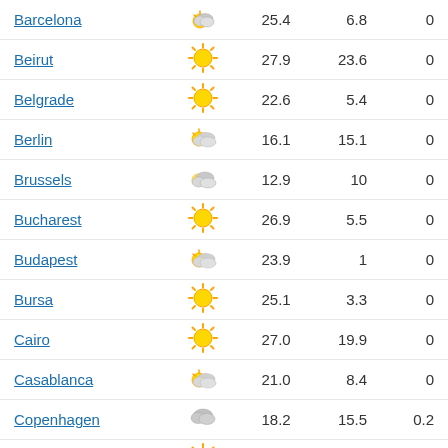| City | Weather | Temp | Humidity | Rain |
| --- | --- | --- | --- | --- |
| Barcelona | partly-cloudy | 25.4 | 6.8 | 0 |
| Beirut | sunny | 27.9 | 23.6 | 0 |
| Belgrade | sunny | 22.6 | 5.4 | 0 |
| Berlin | partly-cloudy | 16.1 | 15.1 | 0 |
| Brussels | partly-cloudy | 12.9 | 10 | 0 |
| Bucharest | sunny | 26.9 | 5.5 | 0 |
| Budapest | partly-cloudy | 23.9 | 1 | 0 |
| Bursa | sunny | 25.1 | 3.3 | 0 |
| Cairo | sunny | 27.0 | 19.9 | 0 |
| Casablanca | partly-cloudy | 21.0 | 8.4 | 0 |
| Copenhagen | cloudy | 18.2 | 15.5 | 0.2 |
| Damascus | sunny | 30.6 | 7.5 | 0 |
| Dnipropetrovsk | rainy | 27.0 | 17.4 | 3.2 |
| Donets'k | rainy | 24.4 | 17.8 | 5.1 |
| Dublin | partly-cloudy | 15.6 | 10.4 | 0 |
| Gaziantep | sunny | 27.1 | 6.5 | 0 |